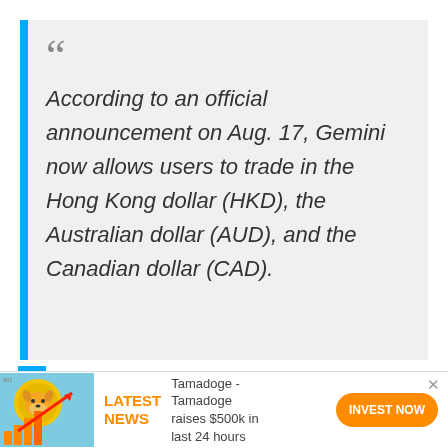According to an official announcement on Aug. 17, Gemini now allows users to trade in the Hong Kong dollar (HKD), the Australian dollar (AUD), and the Canadian dollar (CAD).
[Figure (illustration): Advertisement banner with a cartoon shiba inu dog on a gold coin, bar chart with upward arrow, showing Tamadoge news. LATEST NEWS label in orange, text 'Tamadoge - Tamadoge raises $500k in last 24 hours', and an orange INVEST NOW button.]